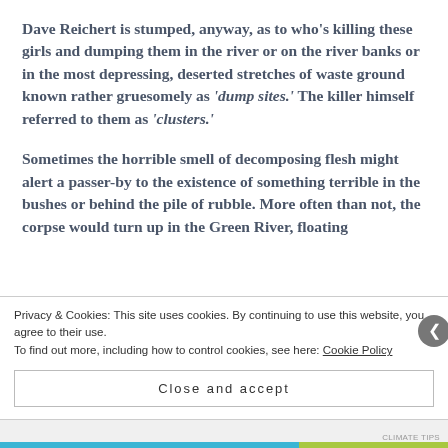Dave Reichert is stumped, anyway, as to who's killing these girls and dumping them in the river or on the river banks or in the most depressing, deserted stretches of waste ground known rather gruesomely as 'dump sites.' The killer himself referred to them as 'clusters.'
Sometimes the horrible smell of decomposing flesh might alert a passer-by to the existence of something terrible in the bushes or behind the pile of rubble. More often than not, the corpse would turn up in the Green River, floating
Privacy & Cookies: This site uses cookies. By continuing to use this website, you agree to their use.
To find out more, including how to control cookies, see here: Cookie Policy
Close and accept